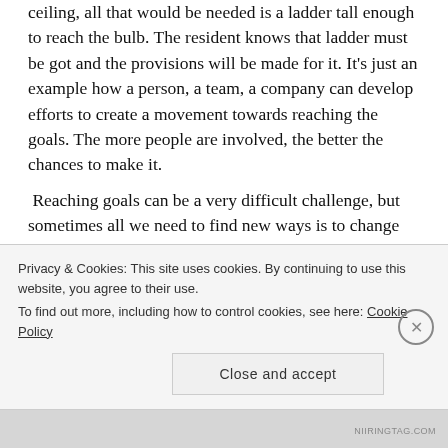ceiling, all that would be needed is a ladder tall enough to reach the bulb. The resident knows that ladder must be got and the provisions will be made for it. It's just an example how a person, a team, a company can develop efforts to create a movement towards reaching the goals. The more people are involved, the better the chances to make it.
Reaching goals can be a very difficult challenge, but sometimes all we need to find new ways is to change the way we're thinking. When the way is dark, it could be just a matter of changing the bulb.
That's it.
Privacy & Cookies: This site uses cookies. By continuing to use this website, you agree to their use.
To find out more, including how to control cookies, see here: Cookie Policy
Close and accept
NIIRINGTAG.COM